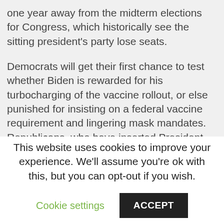one year away from the midterm elections for Congress, which historically see the sitting president's party lose seats.
Democrats will get their first chance to test whether Biden is rewarded for his turbocharging of the vaccine rollout, or else punished for insisting on a federal vaccine requirement and lingering mask mandates. Republicans, who have inserted President Trump into the middle of their candidate's campaign despite his relative unpopularity in the state, will be able to test whether his divisiveness and occasional toxicity can overcome a decline in Biden's headline popularity.
The dividing lines on which this race is being run are
This website uses cookies to improve your experience. We'll assume you're ok with this, but you can opt-out if you wish.
Cookie settings
ACCEPT